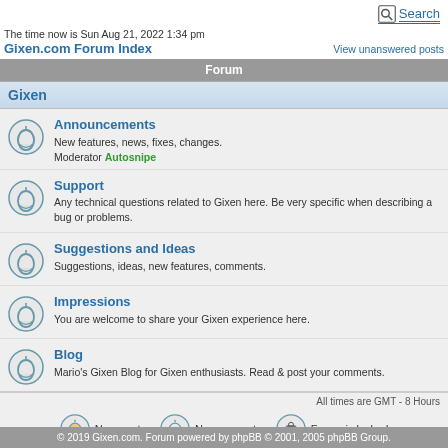Search
The time now is Sun Aug 21, 2022 1:34 pm
Gixen.com Forum Index    View unanswered posts
Forum
Gixen
Announcements - New features, news, fixes, changes. Moderator Autosnipe
Support - Any technical questions related to Gixen here. Be very specific when describing a bug or problems.
Suggestions and Ideas - Suggestions, ideas, new features, comments.
Impressions - You are welcome to share your Gixen experience here.
Blog - Mario's Gixen Blog for Gixen enthusiasts. Read & post your comments.
All times are GMT - 8 Hours
New posts    No new posts    Forum is locked
© 2019 Gixen.com. Forum powered by phpBB © 2001, 2005 phpBB Group.